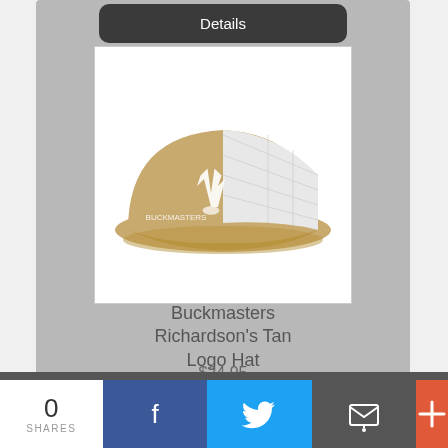[Figure (screenshot): Details button (dark rounded rectangle) at top of product card]
[Figure (photo): Buckmasters Richardson's Tan Logo Hat — a tan and white mesh trucker cap with white antler logo on front]
Buckmasters Richardson's Tan Logo Hat
$24.95
[Figure (screenshot): Details button (dark rounded rectangle) at bottom of product card]
0
SHARES